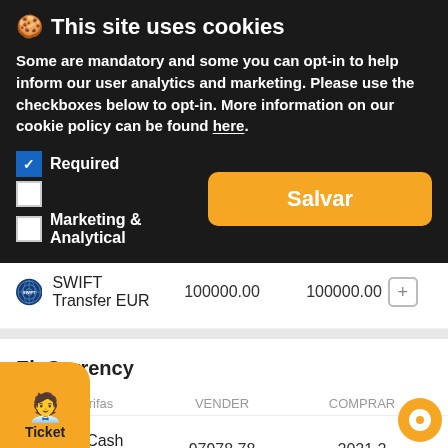[Figure (screenshot): Cookie consent banner overlay on a currency exchange website. Shows title 'This site uses cookies', explanatory text, checkboxes for Required and Marketing & Analytical, and a Salvar (Save) button.]
Reserva / Tarifas    VENDER    COMPRAR
SWIFT Transfer EUR    100000.00    100000.00
El. Currency
Reserva / Tarifas    VENDER    COMPRAR
AdvCash EUR    97978.78    2021.2